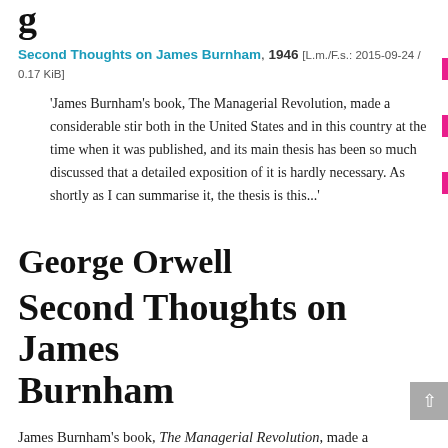Second Thoughts on James Burnham, 1946 [L.m./F.s.: 2015-09-24 / 0.17 KiB]
'James Burnham's book, The Managerial Revolution, made a considerable stir both in the United States and in this country at the time when it was published, and its main thesis has been so much discussed that a detailed exposition of it is hardly necessary. As shortly as I can summarise it, the thesis is this...'
George Orwell
Second Thoughts on James Burnham
James Burnham's book, The Managerial Revolution, made a considerable stir both in the United States and in this country at the time when it was published, and its main thesis has been so much discussed that a detailed exposition of it is hardly necessary. As shortly as I can summarise it, the thesis is this...